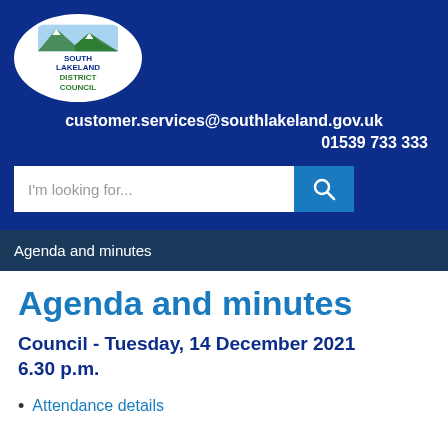[Figure (logo): South Lakeland District Council logo — white oval with mountain illustration and council name]
customer.services@southlakeland.gov.uk
01539 733 333
[Figure (screenshot): Search bar with placeholder text 'I'm looking for...' and blue search button with magnifying glass icon]
Agenda and minutes
Agenda and minutes
Council - Tuesday, 14 December 2021 6.30 p.m.
Attendance details